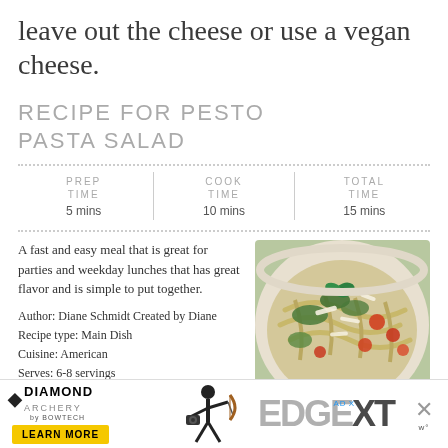leave out the cheese or use a vegan cheese.
RECIPE FOR PESTO PASTA SALAD
| PREP TIME | COOK TIME | TOTAL TIME |
| --- | --- | --- |
| 5 mins | 10 mins | 15 mins |
A fast and easy meal that is great for parties and weekday lunches that has great flavor and is simple to put together.
Author: Diane Schmidt Created by Diane
Recipe type: Main Dish
Cuisine: American
Serves: 6-8 servings
[Figure (photo): Bowl of pesto pasta salad with cherry tomatoes, greens, and shredded parmesan cheese]
[Figure (other): Print button with printer icon and PRINT label]
INGREDIENTS
[Figure (other): Diamond Archery advertisement banner with Edge XT product and Learn More button]